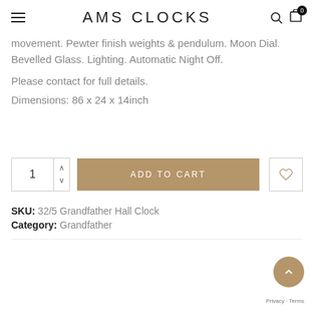AMS CLOCKS
movement. Pewter finish weights & pendulum. Moon Dial. Bevelled Glass. Lighting. Automatic Night Off.
Please contact for full details.
Dimensions: 86 x 24 x 14inch
ADD TO CART
SKU: 32/5 Grandfather Hall Clock
Category: Grandfather